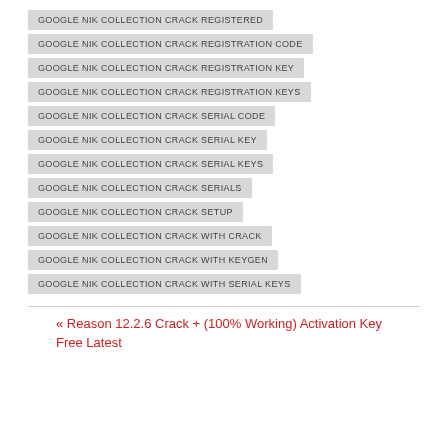GOOGLE NIK COLLECTION CRACK REGISTERED
GOOGLE NIK COLLECTION CRACK REGISTRATION CODE
GOOGLE NIK COLLECTION CRACK REGISTRATION KEY
GOOGLE NIK COLLECTION CRACK REGISTRATION KEYS
GOOGLE NIK COLLECTION CRACK SERIAL CODE
GOOGLE NIK COLLECTION CRACK SERIAL KEY
GOOGLE NIK COLLECTION CRACK SERIAL KEYS
GOOGLE NIK COLLECTION CRACK SERIALS
GOOGLE NIK COLLECTION CRACK SETUP
GOOGLE NIK COLLECTION CRACK WITH CRACK
GOOGLE NIK COLLECTION CRACK WITH KEYGEN
GOOGLE NIK COLLECTION CRACK WITH SERIAL KEYS
« Reason 12.2.6 Crack + (100% Working) Activation Key Free Latest